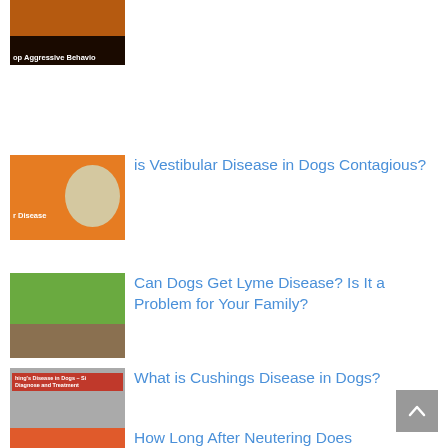[Figure (photo): Thumbnail image with dark sunset background and text 'op Aggressive Behavio']
[Figure (photo): Orange background thumbnail with a white dog and text 'r Disease' for Vestibular Disease article]
is Vestibular Disease in Dogs Contagious?
[Figure (photo): Green grass background thumbnail with a light-colored puppy for Lyme Disease article]
Can Dogs Get Lyme Disease? Is It a Problem for Your Family?
[Figure (photo): Gray thumbnail with red label 'hing's Disease in Dogs – Si, Diagnose and Treatment' and a dog lying down]
What is Cushings Disease in Dogs?
[Figure (photo): Orange/red thumbnail for How Long After Neutering Does article]
How Long After Neutering Does